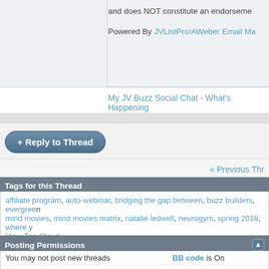and does NOT constitute an endorsement
Powered By JVListPro/AWeber Email Ma
My JV Buzz Social Chat - What's Happening
+ Reply to Thread
« Previous Thr
Tags for this Thread
affiliate program, auto-webinar, bridging the gap between, buzz builders, evergreen, mind movies, mind movies matrix, natalie ledwell, neurogym, spring 2018, where y
View Tag Cloud
Posting Permissions
|  |  |
| --- | --- |
| You may not post new threads | BB code is On |
| You may not post replies | Smilies are On |
| You may not post attachments | [IMG] code is On |